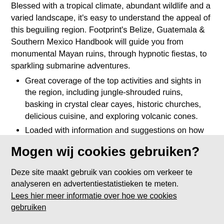Blessed with a tropical climate, abundant wildlife and a varied landscape, it's easy to understand the appeal of this beguiling region. Footprint's Belize, Guatemala & Southern Mexico Handbook will guide you from monumental Mayan ruins, through hypnotic fiestas, to sparkling submarine adventures.
Great coverage of the top activities and sights in the region, including jungle-shrouded ruins, basking in crystal clear cayes, historic churches, delicious cuisine, and exploring volcanic cones.
Loaded with information and suggestions on how to get off the beaten track, from birding spots in Belize to forgotten cities of ancient civilizations.
Includes comprehensive information on everything from
Mogen wij cookies gebruiken?
Deze site maakt gebruik van cookies om verkeer te analyseren en advertentiestatistieken te meten. Lees hier meer informatie over hoe we cookies gebruiken